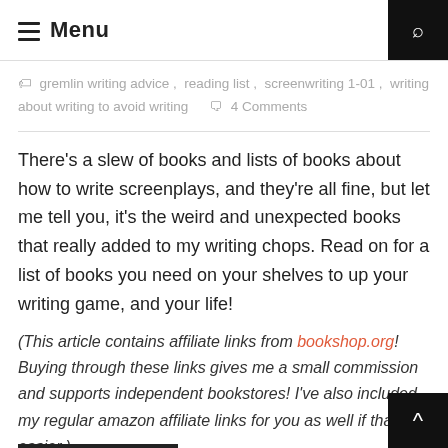Menu
gremlin writing advice, reading list, screenwriting 1-01, writing about writing to avoid writing    4 Comments
There's a slew of books and lists of books about how to write screenplays, and they're all fine, but let me tell you, it's the weird and unexpected books that really added to my writing chops. Read on for a list of books you need on your shelves to up your writing game, and your life!
(This article contains affiliate links from bookshop.org! Buying through these links gives me a small commission and supports independent bookstores! I've also included my regular amazon affiliate links for you as well if that's easier.)